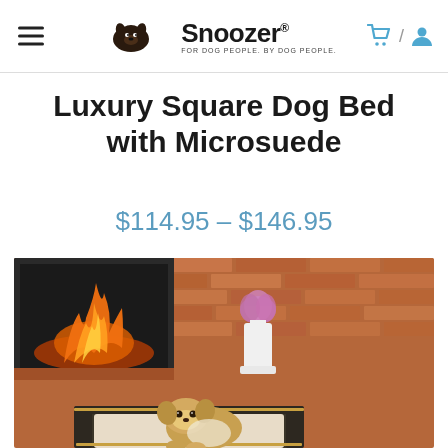Snoozer — FOR DOG PEOPLE. BY DOG PEOPLE.
Luxury Square Dog Bed with Microsuede
$114.95 – $146.95
[Figure (photo): A small dog (Pekingese) resting in a dark luxury square dog bed in front of a brick fireplace with a lit fire and a white vase with pink flowers on a brick ledge in the background.]